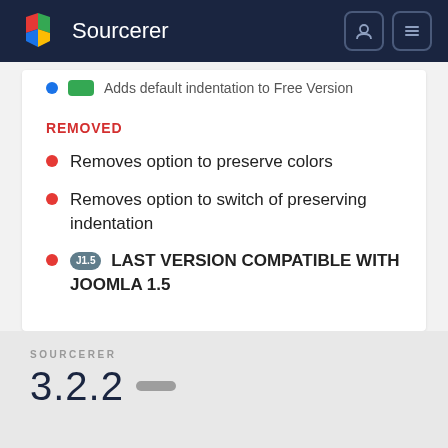Sourcerer
Adds default indentation to Free Version
REMOVED
Removes option to preserve colors
Removes option to switch of preserving indentation
J1.5 LAST VERSION COMPATIBLE WITH JOOMLA 1.5
SOURCERER
3.2.2